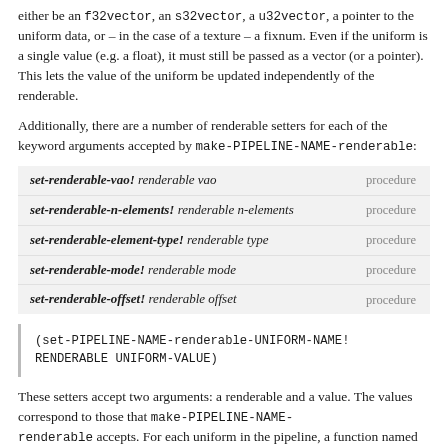either be an f32vector, an s32vector, a u32vector, a pointer to the uniform data, or – in the case of a texture – a fixnum. Even if the uniform is a single value (e.g. a float), it must still be passed as a vector (or a pointer). This lets the value of the uniform be updated independently of the renderable.
Additionally, there are a number of renderable setters for each of the keyword arguments accepted by make-PIPELINE-NAME-renderable:
| Function | Type |
| --- | --- |
| set-renderable-vao! renderable vao | procedure |
| set-renderable-n-elements! renderable n-elements | procedure |
| set-renderable-element-type! renderable type | procedure |
| set-renderable-mode! renderable mode | procedure |
| set-renderable-offset! renderable offset | procedure |
These setters accept two arguments: a renderable and a value. The values correspond to those that make-PIPELINE-NAME-renderable accepts. For each uniform in the pipeline, a function named set-PIPELINE-NAME-renderable-UNIFORM-NAME! is created.